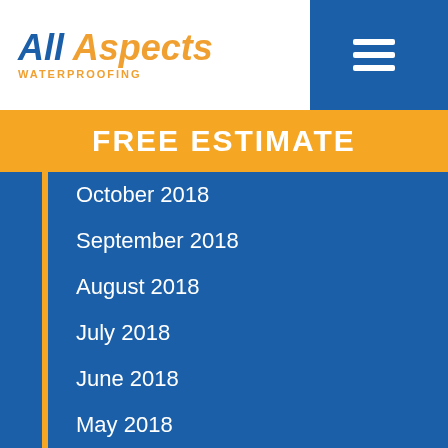All Aspects WATERPROOFING
FREE ESTIMATE
October 2018
September 2018
August 2018
July 2018
June 2018
May 2018
April 2018
March 2018